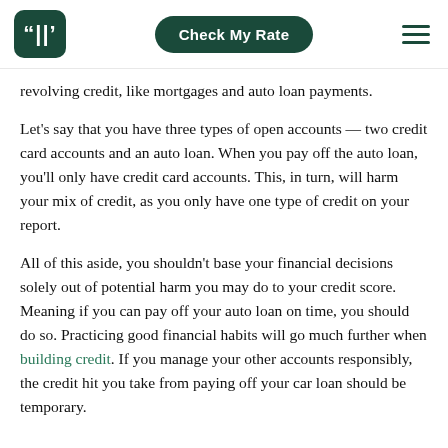Check My Rate
revolving credit, like mortgages and auto loan payments.
Let's say that you have three types of open accounts — two credit card accounts and an auto loan. When you pay off the auto loan, you'll only have credit card accounts. This, in turn, will harm your mix of credit, as you only have one type of credit on your report.
All of this aside, you shouldn't base your financial decisions solely out of potential harm you may do to your credit score. Meaning if you can pay off your auto loan on time, you should do so. Practicing good financial habits will go much further when building credit. If you manage your other accounts responsibly, the credit hit you take from paying off your car loan should be temporary.